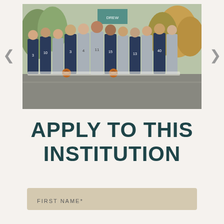[Figure (photo): Drew University men's basketball team photo, approximately 11 players in navy blue and grey uniforms standing outdoors on a path, some holding basketballs. Numbers visible include 10, 3, 4, 11, 15, 13, 40.]
APPLY TO THIS INSTITUTION
FIRST NAME*